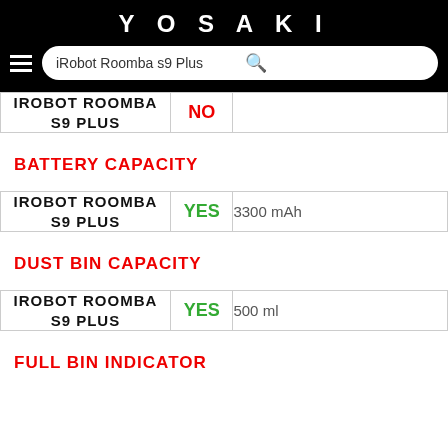YOSAKI — iRobot Roomba s9 Plus
| Product | Available | Value |
| --- | --- | --- |
| IROBOT ROOMBA S9 PLUS | NO |  |
BATTERY CAPACITY
| Product | Available | Value |
| --- | --- | --- |
| IROBOT ROOMBA S9 PLUS | YES | 3300 mAh |
DUST BIN CAPACITY
| Product | Available | Value |
| --- | --- | --- |
| IROBOT ROOMBA S9 PLUS | YES | 500 ml |
FULL BIN INDICATOR